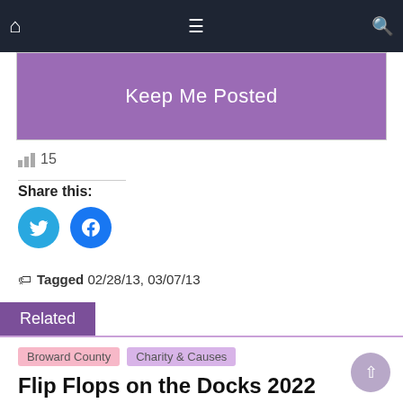Navigation bar with home, menu, and search icons
[Figure (screenshot): Purple 'Keep Me Posted' button/banner]
15
Share this:
[Figure (other): Twitter and Facebook share buttons (circular blue icons)]
Tagged 02/28/13, 03/07/13
Related
Broward County  Charity & Causes
Flip Flops on the Docks 2022
April 2, 2022  SoFlaNights.com
Saturday, April 2, 6:30pm–10:30pm – Lauderdale Yacht Club,